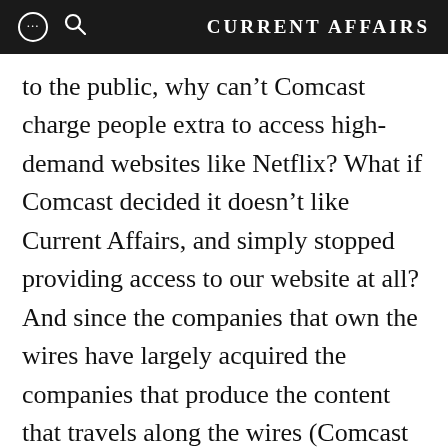CURRENT AFFAIRS
to the public, why can’t Comcast charge people extra to access high-demand websites like Netflix? What if Comcast decided it doesn’t like Current Affairs, and simply stopped providing access to our website at all? And since the companies that own the wires have largely acquired the companies that produce the content that travels along the wires (Comcast owns NBC, AT&T owns Time Warner, etc.), what if internet providers started making their own content much easier to access than the content of their competitors? You can see how this net neutrality